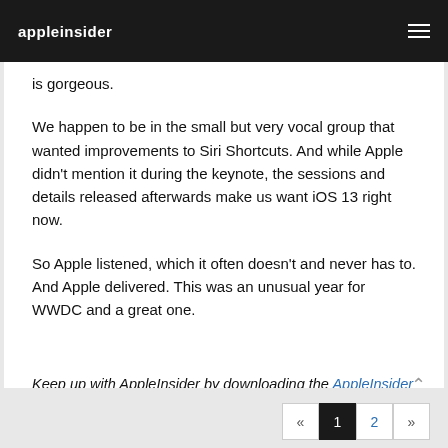appleinsider
is gorgeous.
We happen to be in the small but very vocal group that wanted improvements to Siri Shortcuts. And while Apple didn't mention it during the keynote, the sessions and details released afterwards make us want iOS 13 right now.
So Apple listened, which it often doesn't and never has to. And Apple delivered. This was an unusual year for WWDC and a great one.
Keep up with AppleInsider by downloading the AppleInsider app for iOS, and follow us on YouTube, Twitter @appleinsider and Facebook for live, late-breaking coverage. You can also check out our official Instagram account for exclusive photos.
« 1 2 »